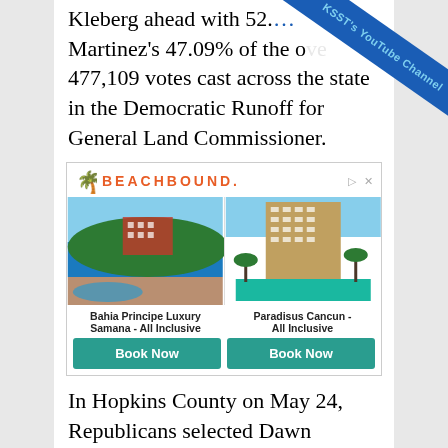Kleberg ahead with 52.[?]% Martinez's 47.09% of the o[ver] 477,109 votes cast across the state in the Democratic Runoff for General Land Commissioner.
[Figure (illustration): BEACHBOUND advertisement showing Bahia Principe Luxury Samana All Inclusive and Paradisus Cancun All Inclusive resorts with Book Now buttons]
In Hopkins County on May 24, Republicans selected Dawn Buckingham 777 votes to 298 votes. That gives Bukchingham the county Republican